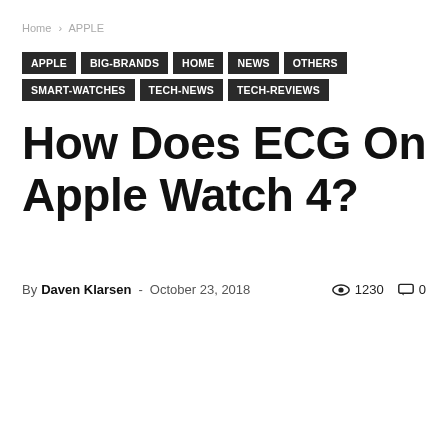Home › APPLE
APPLE
BIG-BRANDS
Home
NEWS
OTHERS
Smart-Watches
TECH-NEWS
TECH-REVIEWS
How Does ECG On Apple Watch 4?
By Daven Klarsen - October 23, 2018  1230  0